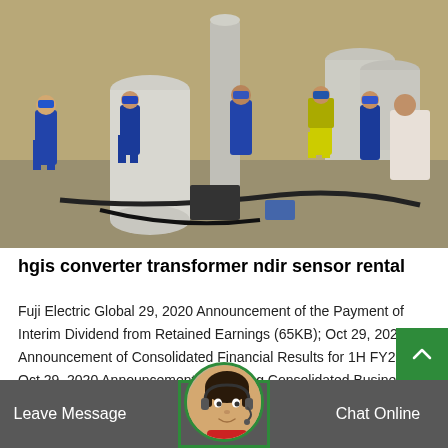[Figure (photo): Industrial workers in blue coveralls and hard hats working around large industrial equipment and pipes on a job site. Several workers visible, some wearing yellow safety vests, standing and working near large white cylindrical equipment.]
hgis converter transformer ndir sensor rental
Fuji Electric Global 29, 2020 Announcement of the Payment of Interim Dividend from Retained Earnings (65KB); Oct 29, 2020 Announcement of Consolidated Financial Results for 1H FY2020 ; Oct 29, 2020 Announcement Regarding Consolidated Busines…
Leave Message  Chat Online